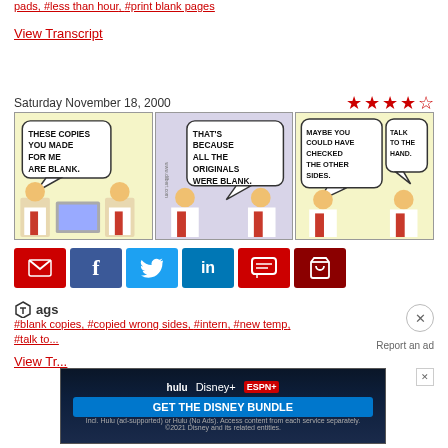pads, #less than hour, #print blank pages
View Transcript
Saturday November 18, 2000
[Figure (illustration): Dilbert comic strip with three panels. Panel 1: Character says 'THESE COPIES YOU MADE FOR ME ARE BLANK.' Panel 2: Another character says 'THAT'S BECAUSE ALL THE ORIGINALS WERE BLANK.' Panel 3: Characters say 'MAYBE YOU COULD HAVE CHECKED THE OTHER SIDES.' and 'TALK TO THE HAND.']
[Figure (infographic): Row of social sharing buttons: email (red), Facebook (blue), Twitter (light blue), LinkedIn (blue), comment (red), shop (dark red)]
Tags
#blank copies, #copied wrong sides, #intern, #new temp, #talk to...
Report an ad
View Transcript
[Figure (photo): Disney Bundle advertisement banner with Hulu, Disney+, ESPN+ logos and text 'GET THE DISNEY BUNDLE'. Incl. Hulu (ad-supported) or Hulu (No Ads). Access content from each service separately. ©2021 Disney and its related entities.]